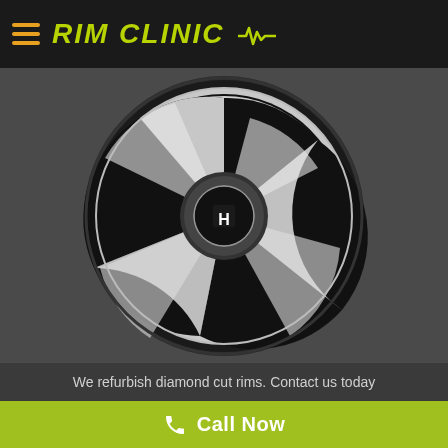RIM CLINIC
[Figure (photo): Close-up photo of a Honda alloy wheel with diamond cut finish — black and machined silver spokes with Honda H center cap, mounted on a tire.]
We refurbish diamond cut rims. Contact us today
Call Now